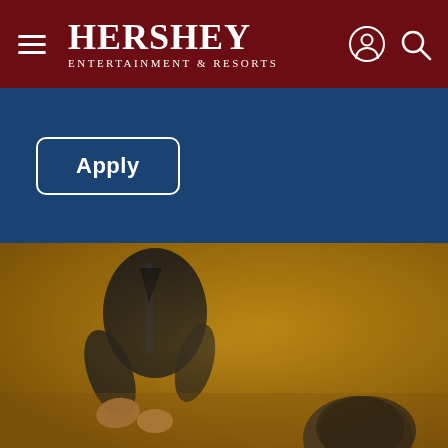HERSHEY ENTERTAINMENT & RESORTS
Apply
[Figure (photo): A spa or massage therapist in a dark zip-up jacket working on a client, warm golden-brown toned photograph]